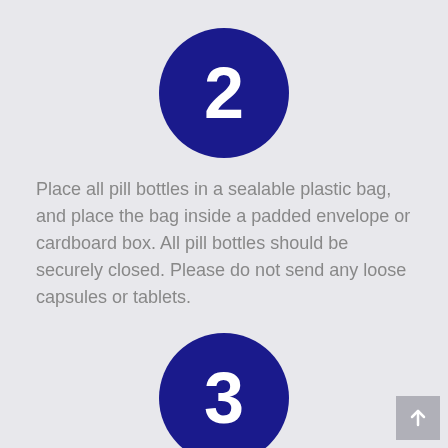[Figure (infographic): Dark navy blue circle with white number 2 centered inside, serving as a step indicator]
Place all pill bottles in a sealable plastic bag, and place the bag inside a padded envelope or cardboard box. All pill bottles should be securely closed. Please do not send any loose capsules or tablets.
[Figure (infographic): Dark navy blue circle with white number 3 centered inside, serving as a step indicator, partially visible at bottom]